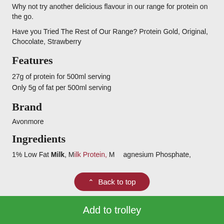Why not try another delicious flavour in our range for protein on the go.
Have you Tried The Rest of Our Range? Protein Gold, Original, Chocolate, Strawberry
Features
27g of protein for 500ml serving
Only 5g of fat per 500ml serving
Brand
Avonmore
Ingredients
1% Low Fat Milk, Milk Protein, Magnesium Phosphate,
Back to top
Add to trolley